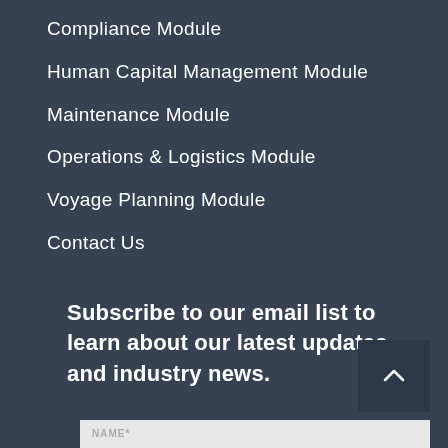Compliance Module
Human Capital Management Module
Maintenance Module
Operations & Logistics Module
Voyage Planning Module
Contact Us
Subscribe to our email list to learn about our latest updates and industry news.
NAME*